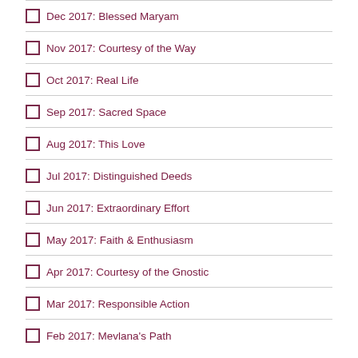Dec 2017: Blessed Maryam
Nov 2017: Courtesy of the Way
Oct 2017: Real Life
Sep 2017: Sacred Space
Aug 2017: This Love
Jul 2017: Distinguished Deeds
Jun 2017: Extraordinary Effort
May 2017: Faith & Enthusiasm
Apr 2017: Courtesy of the Gnostic
Mar 2017: Responsible Action
Feb 2017: Mevlana's Path